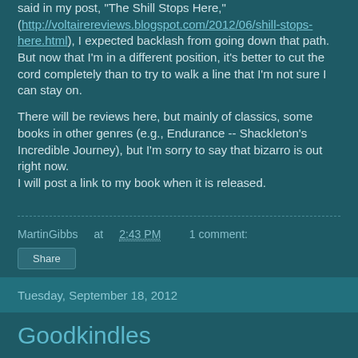said in my post, "The Shill Stops Here," (http://voltairereviews.blogspot.com/2012/06/shill-stops-here.html), I expected backlash from going down that path. But now that I'm in a different position, it's better to cut the cord completely than to try to walk a line that I'm not sure I can stay on.
There will be reviews here, but mainly of classics, some books in other genres (e.g., Endurance -- Shackleton's Incredible Journey), but I'm sorry to say that bizarro is out right now.
I will post a link to my book when it is released.
MartinGibbs at 2:43 PM   1 comment:
Share
Tuesday, September 18, 2012
Goodkindles
Handpicked at Goodkindle...